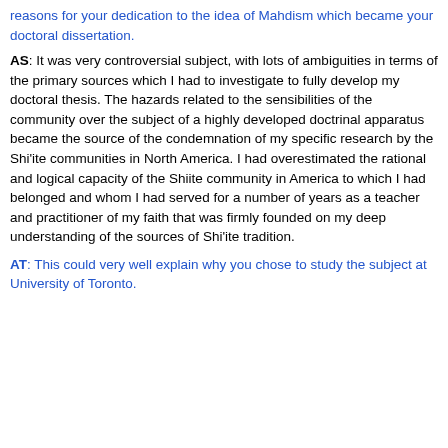reasons for your dedication to the idea of Mahdism which became your doctoral dissertation.
AS: It was very controversial subject, with lots of ambiguities in terms of the primary sources which I had to investigate to fully develop my doctoral thesis. The hazards related to the sensibilities of the community over the subject of a highly developed doctrinal apparatus became the source of the condemnation of my specific research by the Shi'ite communities in North America. I had overestimated the rational and logical capacity of the Shiite community in America to which I had belonged and whom I had served for a number of years as a teacher and practitioner of my faith that was firmly founded on my deep understanding of the sources of Shi'ite tradition.
AT: This could very well explain why you chose to study the subject at University of Toronto.